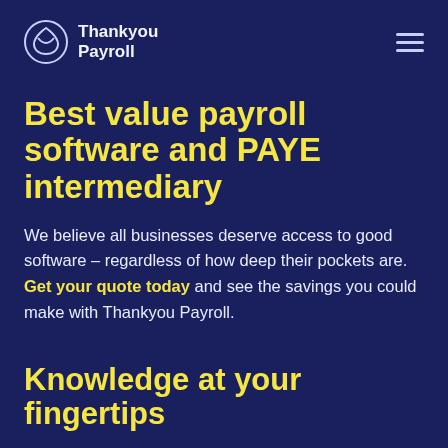Thankyou Payroll
Best value payroll software and PAYE intermediary
We believe all businesses deserve access to good software – regardless of how deep their pockets are. Get your quote today and see the savings you could make with Thankyou Payroll.
Knowledge at your fingertips